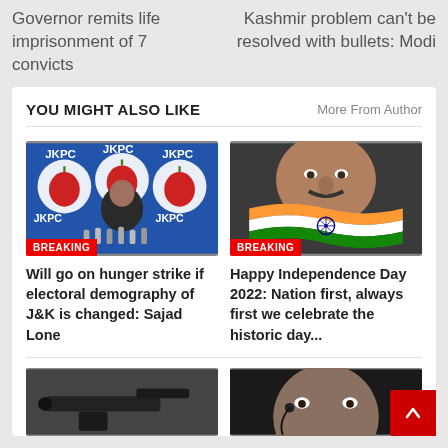Governor remits life imprisonment of 7 convicts
Kashmir problem can't be resolved with bullets: Modi
YOU MIGHT ALSO LIKE
More From Author
[Figure (photo): JKPC press conference with man in dark jacket seated at table with microphones, JKPC logos in background. BREAKING badge at bottom.]
Will go on hunger strike if electoral demography of J&K is changed: Sajad Lone
[Figure (photo): Man's face with Indian tricolor flag overlay. BREAKING badge at bottom.]
Happy Independence Day 2022: Nation first, always first we celebrate the historic day...
[Figure (photo): Partial image of a gun/pistol, dark background.]
[Figure (photo): Man's face, dark background, partial view.]